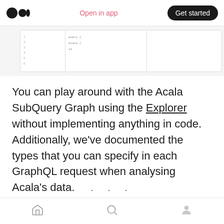Medium logo | Open in app | Get started
[Figure (screenshot): Partial screenshot of a data table or code editor interface with columns and rows, showing monospaced text lines]
You can play around with the Acala SubQuery Graph using the Explorer without implementing anything in code. Additionally, we've documented the types that you can specify in each GraphQL request when analysing Acala's data.
. . .
A future with a live Acala SubQuery Graph
Home | Search | Profile